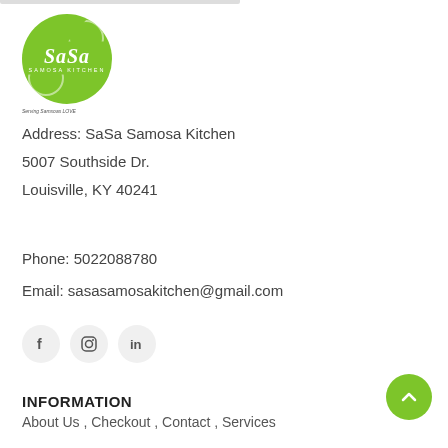[Figure (logo): SaSa Samosa Kitchen circular green logo with white script text]
Address: SaSa Samosa Kitchen
5007 Southside Dr.
Louisville, KY 40241
Phone: 5022088780
Email: sasasamosakitchen@gmail.com
[Figure (other): Social media icons: Facebook, Instagram, LinkedIn]
INFORMATION
About Us , Checkout , Contact , Services